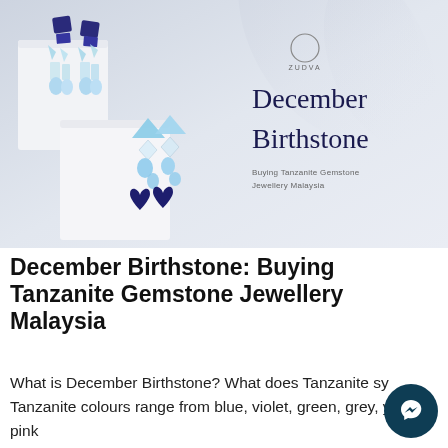[Figure (photo): Hero banner image showing tanzanite gemstone earrings with blue heart-shaped and light blue crystal accents on white display stands, with 'December Birthstone - Buying Tanzanite Gemstone Jewellery Malaysia' text overlay and ZUDVA brand logo]
December Birthstone: Buying Tanzanite Gemstone Jewellery Malaysia
What is December Birthstone? What does Tanzanite sy... Tanzanite colours range from blue, violet, green, grey, yell... pink and brown. View some Tanzanite gemstone jewellery and design...